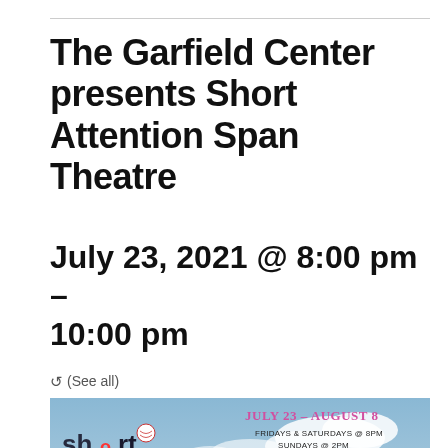The Garfield Center presents Short Attention Span Theatre
July 23, 2021 @ 8:00 pm - 10:00 pm
(See all)
[Figure (photo): Promotional poster for Short Attention Span Theatre at The Garfield Center. July 23 - August 8, Fridays & Saturdays @ 8pm, Sundays @ 2pm. Produced by Mark Sullivan. Directors: Steve Arnold, Nic Carter, Brad Chaires, John Mann, Melissa McGlynn & Mark Sullivan. $18 General Admission, $10 Students*. Some adult language. May not be appropriate for children under 13.]